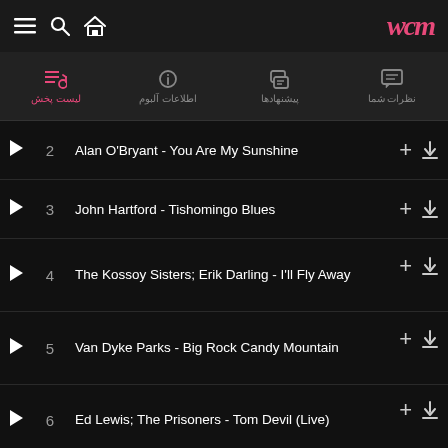WOM music app header with menu, search, home icons and WOM logo
[Figure (screenshot): Tab bar with 4 tabs: لیست پخش (active, pink), اطلاعات آلبوم, پیشنهادها, نظرات شما]
2  Alan O'Bryant - You Are My Sunshine
3  John Hartford - Tishomingo Blues
4  The Kossoy Sisters; Erik Darling - I'll Fly Away
5  Van Dyke Parks - Big Rock Candy Mountain
6  Ed Lewis; The Prisoners - Tom Devil (Live)
7  The Cox Family - Keep on the Sunny Side